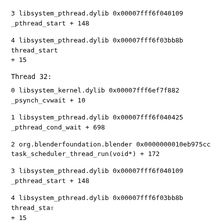3  libsystem_pthread.dylib     0x00007fff6f040109 _pthread_start + 148
4  libsystem_pthread.dylib     0x00007fff6f03bb8b thread_start + 15
Thread 32:
0  libsystem_kernel.dylib      0x00007fff6ef7f882 _psynch_cvwait + 10
1  libsystem_pthread.dylib     0x00007fff6f040425 _pthread_cond_wait + 698
2  org.blenderfoundation.blender 0x0000000010eb975cc task_scheduler_thread_run(void*) + 172
3  libsystem_pthread.dylib     0x00007fff6f040109 _pthread_start + 148
4  libsystem_pthread.dylib     0x00007fff6f03bb8b thread_start + 15